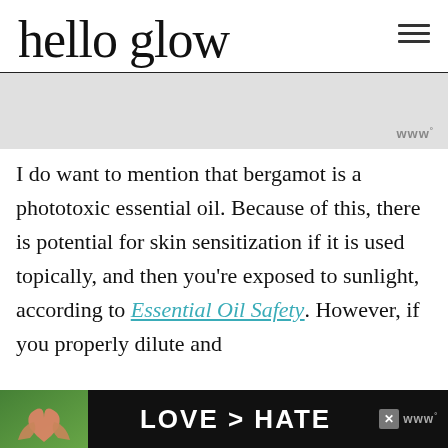hello glow
[Figure (other): Gray advertisement banner placeholder with 'www' superscript logo icon in lower right]
I do want to mention that bergamot is a phototoxic essential oil. Because of this, there is potential for skin sensitization if it is used topically, and then you're exposed to sunlight, according to Essential Oil Safety. However, if you properly dilute and follow the...
[Figure (photo): Bottom advertisement bar: dark background with photo of hands making heart shape, text 'LOVE > HATE', close button X, and www logo]